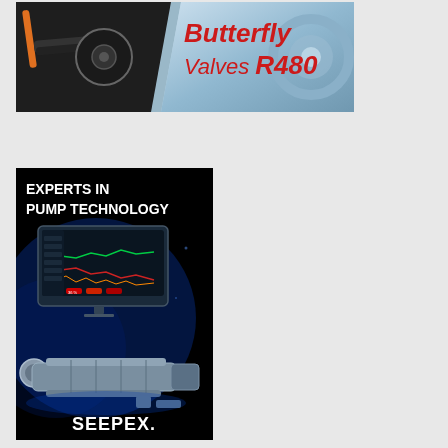[Figure (illustration): Advertisement for Butterfly Valves R480 showing industrial valve/mechanical hardware imagery on left with dark mechanical parts and orange handle, blue pipe fitting on right, with bold red italic text 'Butterfly Valves R480' on right side]
[Figure (illustration): SEEPEX advertisement with dark/black background and blue glow effects showing 'EXPERTS IN PUMP TECHNOLOGY' text at top in white bold, a monitor/screen showing pump performance graphs in center, industrial pump machinery below, and SEEPEX brand logo at bottom in white]